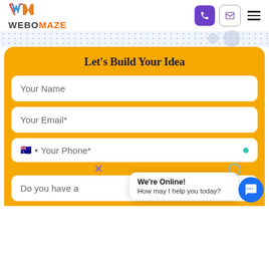[Figure (logo): WebOMaze logo with colorful W and M icon above text WEBOMAZE in dark/orange]
[Figure (screenshot): Header navigation icons: purple phone button, email envelope button, hamburger menu]
Let's Build Your Idea
Your Name
Your Email*
Your Phone*
Do you have a
We're Online! How may I help you today?